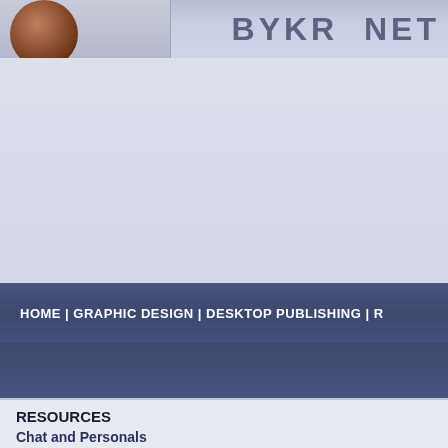[Figure (screenshot): Website header with logo circle on left and site name text BYKR NET on right, on a blue-grey gradient background]
[Figure (screenshot): Large blue-grey content area placeholder]
HOME | GRAPHIC DESIGN | DESKTOP PUBLISHING | R
RESOURCES
Chat and Personals